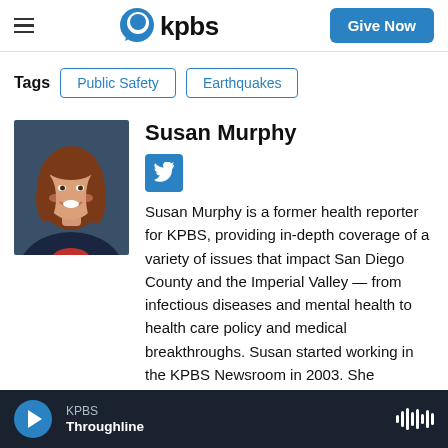KPBS | Give Now
Tags  Public Safety  Earthquakes
[Figure (photo): Headshot photo of Susan Murphy, a woman with shoulder-length auburn hair, smiling, wearing a dark blazer with a red top, against a dark blue background]
Susan Murphy
Susan Murphy is a former health reporter for KPBS, providing in-depth coverage of a variety of issues that impact San Diego County and the Imperial Valley — from infectious diseases and mental health to health care policy and medical breakthroughs. Susan started working in the KPBS Newsroom in 2003. She
KPBS Throughline